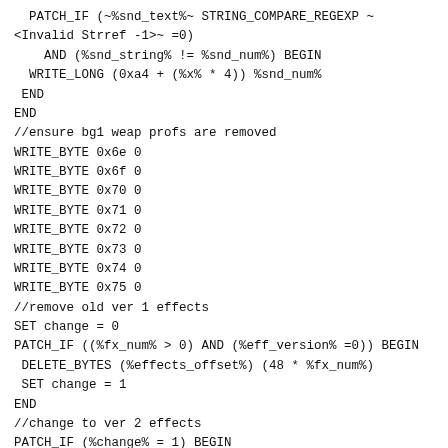PATCH_IF (~%snd_text%~ STRING_COMPARE_REGEXP ~
<Invalid Strref -1>~ =0)
    AND (%snd_string% != %snd_num%) BEGIN
  WRITE_LONG (0xa4 + (%x% * 4)) %snd_num%
 END
END
//ensure bg1 weap profs are removed
WRITE_BYTE 0x6e 0
WRITE_BYTE 0x6f 0
WRITE_BYTE 0x70 0
WRITE_BYTE 0x71 0
WRITE_BYTE 0x72 0
WRITE_BYTE 0x73 0
WRITE_BYTE 0x74 0
WRITE_BYTE 0x75 0
//remove old ver 1 effects
SET change = 0
PATCH_IF ((%fx_num% > 0) AND (%eff_version% =0)) BEGIN
 DELETE_BYTES (%effects_offset%) (48 * %fx_num%)
 SET change = 1
END
//change to ver 2 effects
PATCH_IF (%change% = 1) BEGIN
 WRITE_BYTE 0x33 1